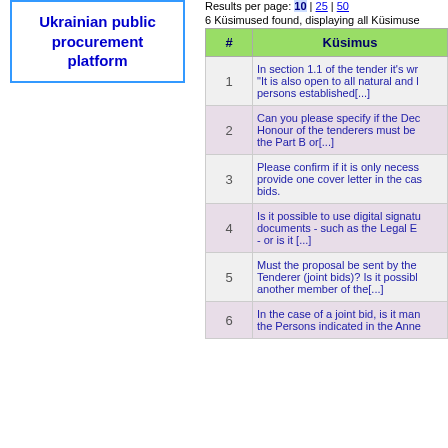[Figure (logo): Ukrainian public procurement platform logo box with blue border]
Results per page: 10 | 25 | 50
6 Küsimused found, displaying all Küsimuse
| # | Küsimus |
| --- | --- |
| 1 | In section 1.1 of the tender it's wr... "It is also open to all natural and l... persons established[...] |
| 2 | Can you please specify if the Dec... Honour of the tenderers must be... the Part B or[...] |
| 3 | Please confirm if it is only necess... provide one cover letter in the cas... bids. |
| 4 | Is it possible to use digital signatu... documents - such as the Legal E... - or is it [...] |
| 5 | Must the proposal be sent by the... Tenderer (joint bids)? Is it possibl... another member of the[...] |
| 6 | In the case of a joint bid, is it man... the Persons indicated in the Anne... |